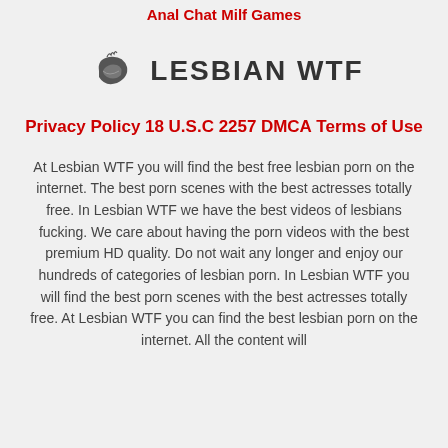Anal Chat
Milf Games
[Figure (logo): Lesbian WTF logo with leaf/lips icon and bold text]
Privacy Policy
18 U.S.C 2257
DMCA
Terms of Use
At Lesbian WTF you will find the best free lesbian porn on the internet. The best porn scenes with the best actresses totally free. In Lesbian WTF we have the best videos of lesbians fucking. We care about having the porn videos with the best premium HD quality. Do not wait any longer and enjoy our hundreds of categories of lesbian porn. In Lesbian WTF you will find the best porn scenes with the best actresses totally free. At Lesbian WTF you can find the best lesbian porn on the internet. All the content will